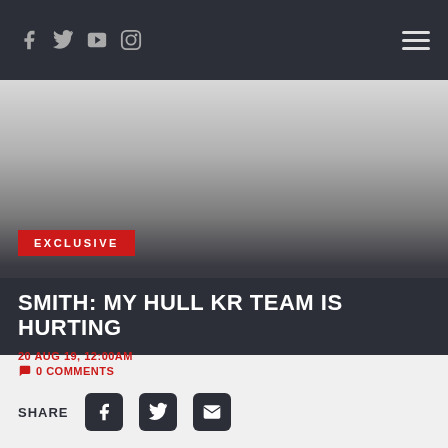Social media icons (Facebook, Twitter, YouTube, Instagram) and hamburger menu
[Figure (photo): Hero image with gradient from light gray to dark charcoal]
EXCLUSIVE
SMITH: MY HULL KR TEAM IS HURTING
20 AUG 19, 12:00AM
0 COMMENTS
SHARE